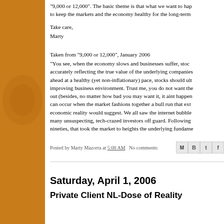"9,000 or 12,000". The basic theme is that what we want to hap to keep the markets and the economy healthy for the long-term
Take care,
Marty
Taken from "9,000 or 12,000", January 2006
"You see, when the economy slows and businesses suffer, stoc accurately reflecting the true value of the underlying companies ahead at a healthy (yet non-inflationary) pace, stocks should ult improving business environment. Trust me, you do not want the out (besides, no matter how bad you may want it, it aint happen can occur when the market fashions together a bull run that ext economic reality would suggest. We all saw the internet bubble many unsuspecting, tech-crazed investors off guard. Following nineties, that took the market to heights the underlying fundame
Posted by Marty Mazorra at 5:08 AM   No comments:
Saturday, April 1, 2006
Private Client NL-Dose of Reality